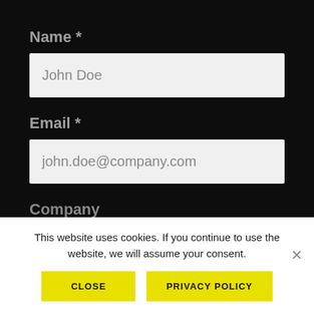Name *
[Figure (screenshot): Text input field with placeholder text 'John Doe']
Email *
[Figure (screenshot): Text input field with placeholder text 'john.doe@company.com']
Company
[Figure (screenshot): Partially visible text input field for company name]
This website uses cookies. If you continue to use the website, we will assume your consent.
CLOSE
PRIVACY POLICY